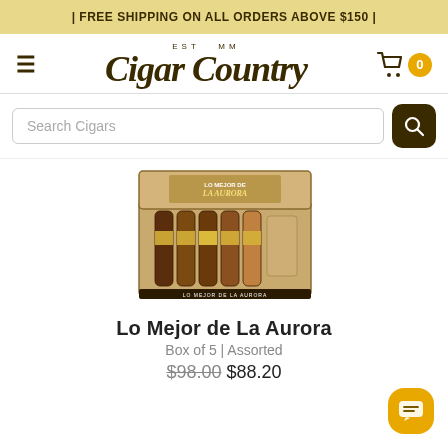| FREE SHIPPING ON ALL ORDERS ABOVE $150 |
[Figure (logo): Cigar Country logo with EST MM text, script font, brown color]
Search Cigars
[Figure (photo): Open wooden cigar box labeled 'Lo Mejor de La Aurora' containing 5 assorted cigars with gold bands]
Lo Mejor de La Aurora
Box of 5 | Assorted
$98.00 $88.20